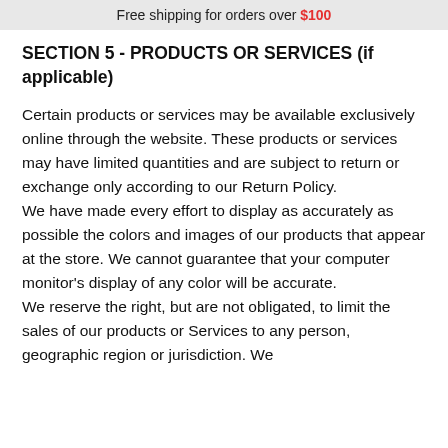Free shipping for orders over $100
SECTION 5 - PRODUCTS OR SERVICES (if applicable)
Certain products or services may be available exclusively online through the website. These products or services may have limited quantities and are subject to return or exchange only according to our Return Policy.
We have made every effort to display as accurately as possible the colors and images of our products that appear at the store. We cannot guarantee that your computer monitor's display of any color will be accurate.
We reserve the right, but are not obligated, to limit the sales of our products or Services to any person, geographic region or jurisdiction. We